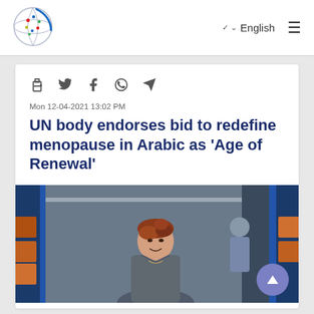[Figure (logo): Globe/network logo icon with colorful dots]
English
Mon 12-04-2021 13:02 PM
UN body endorses bid to redefine menopause in Arabic as ‘Age of Renewal’
[Figure (photo): A smiling woman with short reddish-brown hair in a warehouse or industrial setting, wearing a gray top. Blue shelving visible in background.]